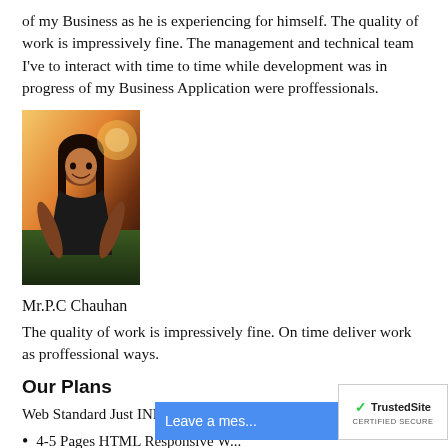of my Business as he is experiencing for himself. The quality of work is impressively fine. The management and technical team I've to interact with time to time while development was in progress of my Business Application were proffessionals.
[Figure (photo): Portrait photo of a young woman smiling outdoors with warm sunset lighting and greenery in the background]
Mr.P.C Chauhan
The quality of work is impressively fine. On time deliver work as proffessional ways.
Our Plans
Web Standard Just INR 2,999*/- Features included!
4-5 Pages HTML Responsive W...
Domain Name for 1 Year